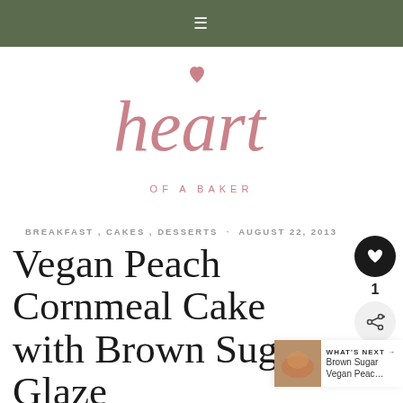≡
[Figure (logo): Heart of a Baker logo — cursive script 'heart' in dusty rose/mauve pink color with a heart shape at the top of the letter h, and 'OF A BAKER' in spaced capital letters below]
BREAKFAST , CAKES , DESSERTS · AUGUST 22, 2013
Vegan Peach Cornmeal Cake with Brown Sugar Glaze